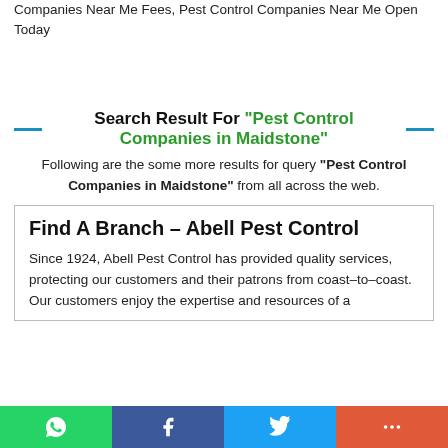Companies Near Me Fees, Pest Control Companies Near Me Open Today
Search Result For "Pest Control Companies in Maidstone"
Following are the some more results for query "Pest Control Companies in Maidstone" from all across the web.
Find A Branch – Abell Pest Control
Since 1924, Abell Pest Control has provided quality services, protecting our customers and their patrons from coast-to-coast. Our customers enjoy the expertise and resources of a